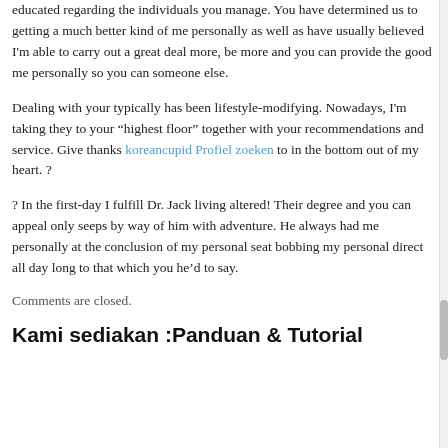educated regarding the individuals you manage. You have determined us to getting a much better kind of me personally as well as have usually believed I'm able to carry out a great deal more, be more and you can provide the good me personally so you can someone else.
Dealing with your typically has been lifestyle-modifying. Nowadays, I'm taking they to your “highest floor” together with your recommendations and service. Give thanks koreancupid Profiel zoeken to in the bottom out of my heart. ?
? In the first-day I fulfill Dr. Jack living altered! Their degree and you can appeal only seeps by way of him with adventure. He always had me personally at the conclusion of my personal seat bobbing my personal direct all day long to that which you he’d to say.
Comments are closed.
Kami sediakan :Panduan & Tutorial